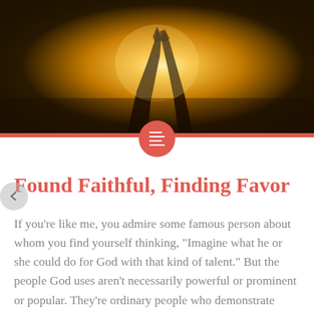[Figure (photo): Silhouette of hands raised toward a bright golden sun, spiritual/worship imagery with warm orange and yellow tones]
Found Faithful, Finding Favor
If you're like me, you admire some famous person about whom you find yourself thinking, “Imagine what he or she could do for God with that kind of talent.” But the people God uses aren’t necessarily powerful or prominent or popular. They’re ordinary people who demonstrate extraordinary faith and faithfulness. And because of that, God shows them